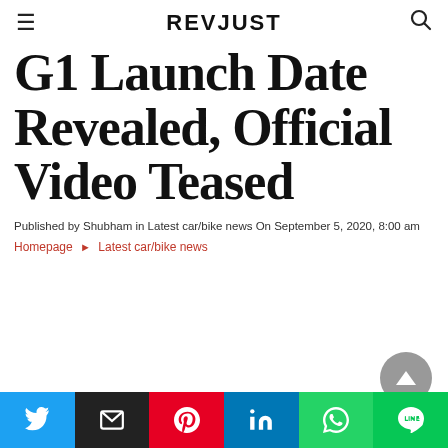REVJUST
G1 Launch Date Revealed, Official Video Teased
Published by Shubham in Latest car/bike news On September 5, 2020, 8:00 am
Homepage ► Latest car/bike news